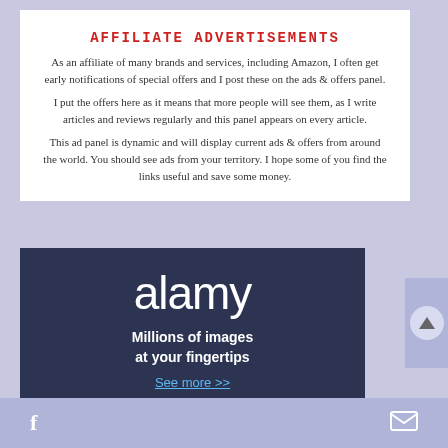AFFILIATE ADVERTISEMENTS
As an affiliate of many brands and services, including Amazon, I often get early notifications of special offers and I post these on the ads & offers panel.
I put the offers here as it means that more people will see them, as I write articles and reviews regularly and this panel appears on every article.
This ad panel is dynamic and will display current ads & offers from around the world. You should see ads from your territory. I hope some of you find the links useful and save some money.
[Figure (advertisement): Alamy stock image advertisement: dark navy background with 'alamy' in large white text, 'Millions of images at your fingertips' subtitle, 'See more >>' link in blue, bottom strip of collaged images]
[Figure (other): Scroll-to-top button: light purple rectangle with circular arrow-up icon]
[Figure (other): Bottom social bar with Facebook 'f' icon on left and mail envelope icon on right, light purple background]